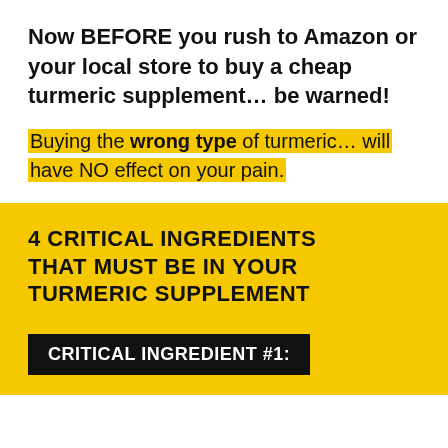Now BEFORE you rush to Amazon or your local store to buy a cheap turmeric supplement… be warned!
Buying the wrong type of turmeric… will have NO effect on your pain.
4 CRITICAL INGREDIENTS THAT MUST BE IN YOUR TURMERIC SUPPLEMENT
CRITICAL INGREDIENT #1: